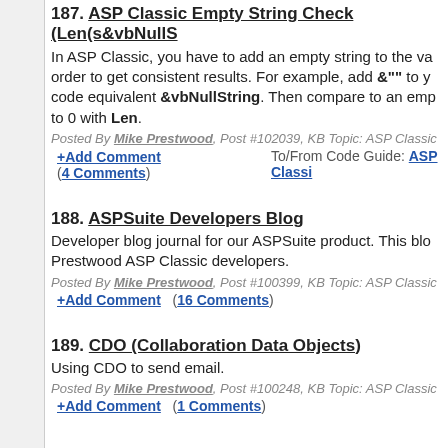187. ASP Classic Empty String Check (Len(s&vbNullS…
In ASP Classic, you have to add an empty string to the va… order to get consistent results. For example, add &"" to y… code equivalent &vbNullString. Then compare to an emp… to 0 with Len.
Posted By Mike Prestwood, Post #102039, KB Topic: ASP Classic
+Add Comment   To/From Code Guide: ASP Classi… (4 Comments)
188. ASPSuite Developers Blog
Developer blog journal for our ASPSuite product. This blo… Prestwood ASP Classic developers.
Posted By Mike Prestwood, Post #100399, KB Topic: ASP Classic
+Add Comment  (16 Comments)
189. CDO (Collaboration Data Objects)
Using CDO to send email.
Posted By Mike Prestwood, Post #100248, KB Topic: ASP Classic
+Add Comment  (1 Comments)